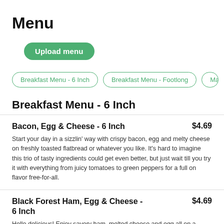Menu
Upload menu
Breakfast Menu - 6 Inch
Breakfast Menu - Footlong
Main M…
Breakfast Menu - 6 Inch
Bacon, Egg & Cheese - 6 Inch  $4.69
Start your day in a sizzlin' way with crispy bacon, egg and melty cheese on freshly toasted flatbread or whatever you like. It's hard to imagine this trio of tasty ingredients could get even better, but just wait till you try it with everything from juicy tomatoes to green peppers for a full on flavor free-for-all.
Black Forest Ham, Egg & Cheese - 6 Inch  $4.69
Hello delicious! Enjoy savory ham, melted cheese and egg all on a flatbread…